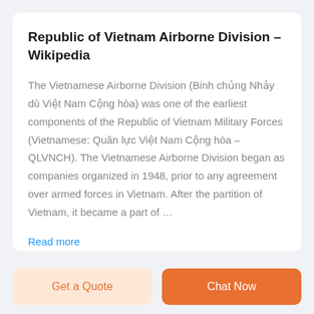Republic of Vietnam Airborne Division – Wikipedia
The Vietnamese Airborne Division (Binh chủng Nhảy dù Việt Nam Cộng hòa) was one of the earliest components of the Republic of Vietnam Military Forces (Vietnamese: Quân lực Việt Nam Cộng hòa – QLVNCH). The Vietnamese Airborne Division began as companies organized in 1948, prior to any agreement over armed forces in Vietnam. After the partition of Vietnam, it became a part of …
Read more
Get a Quote
Chat Now